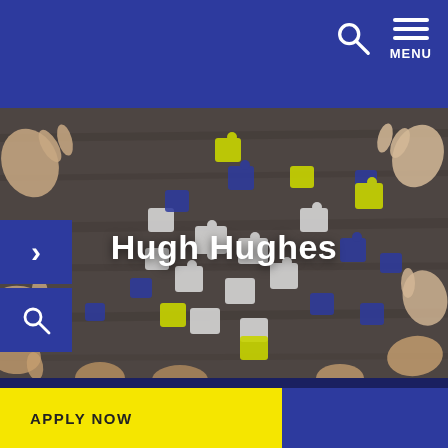MENU
[Figure (photo): Overhead view of multiple hands assembling puzzle pieces on a wooden table. Puzzle pieces are white, blue, and yellow/green colors.]
Hugh Hughes
APPLY NOW